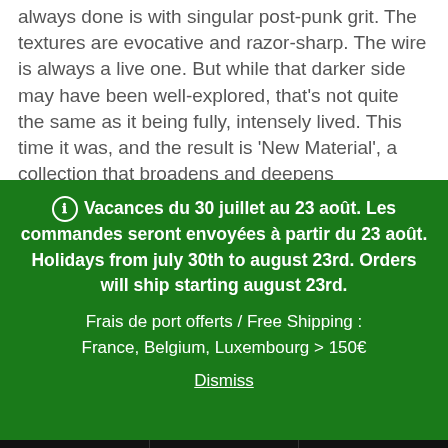always done is with singular post-punk grit. The textures are evocative and razor-sharp. The wire is always a live one. But while that darker side may have been well-explored, that's not quite the same as it being fully, intensely lived. This time it was, and the result is 'New Material', a collection that broadens and deepens Preoccupations to a
Vacances du 30 juillet au 23 août. Les commandes seront envoyées à partir du 23 août. Holidays from july 30th to august 23rd. Orders will ship starting august 23rd.

Frais de port offerts / Free Shipping :
France, Belgium, Luxembourg > 150€

Dismiss
[Figure (infographic): Bottom navigation bar with three icons on black background: user/account icon, search magnifying glass icon, and shopping cart icon with badge showing 0]